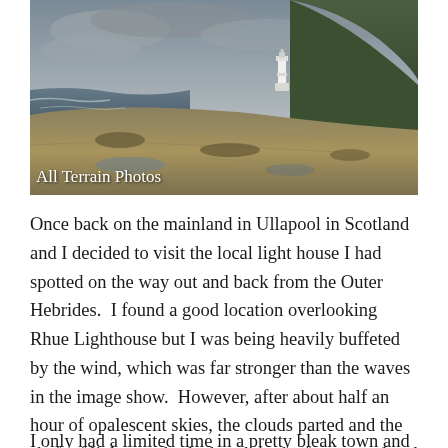[Figure (photo): Coastal landscape photograph showing rocky shoreline with a white lighthouse in the background, green hillside, and overcast sky. Text overlay reads 'All Terrain Photos'.]
Once back on the mainland in Ullapool in Scotland and I decided to visit the local light house I had spotted on the way out and back from the Outer Hebrides.  I found a good location overlooking Rhue Lighthouse but I was being heavily buffeted by the wind, which was far stronger than the waves in the image show.  However, after about half an hour of opalescent skies, the clouds parted and the shaft of light caught the beach in the foreground and struck the light house perfectly beyond it.
I only had a limited time in a pretty bleak town and